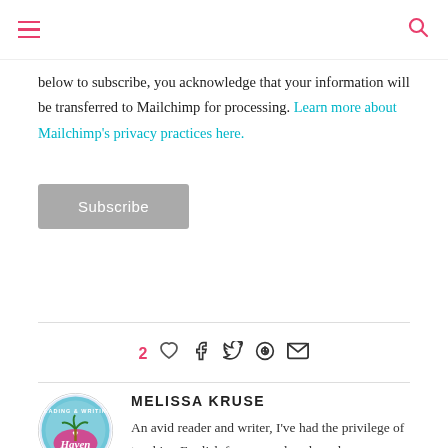Navigation menu and search icon
below to subscribe, you acknowledge that your information will be transferred to Mailchimp for processing. Learn more about Mailchimp's privacy practices here.
Subscribe
2 likes, share icons (facebook, twitter, pinterest, email)
MELISSA KRUSE
An avid reader and writer, I've had the privilege of teaching English for over a decade and am now an